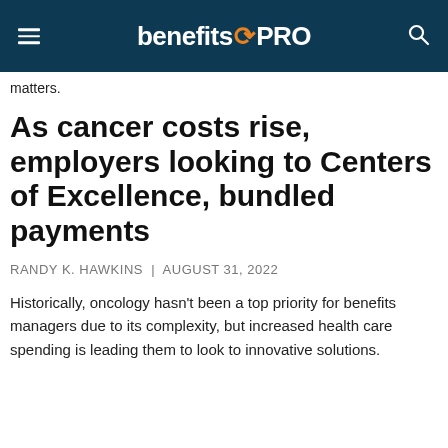benefitsPRO
matters.
As cancer costs rise, employers looking to Centers of Excellence, bundled payments
RANDY K. HAWKINS | AUGUST 31, 2022
Historically, oncology hasn't been a top priority for benefits managers due to its complexity, but increased health care spending is leading them to look to innovative solutions.